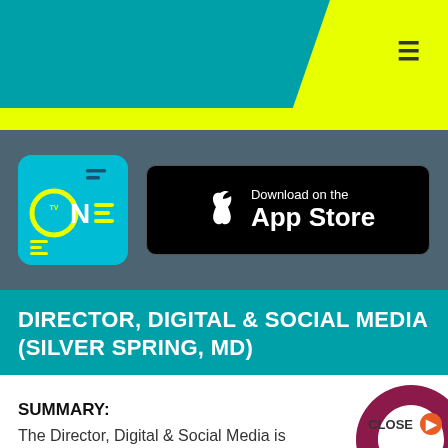[Figure (screenshot): TV One website header with teal and yellow banner, hamburger menu icon on yellow background]
[Figure (logo): TV One app logo — cyan/teal rounded square with 'ONE' text and TV icon]
[Figure (screenshot): Download on the App Store badge, black rounded rectangle with Apple logo]
DIRECTOR, DIGITAL & SOCIAL MEDIA (SILVER SPRING, MD)
SUMMARY:
The Director, Digital & Social Media is responsible for directing and implementing